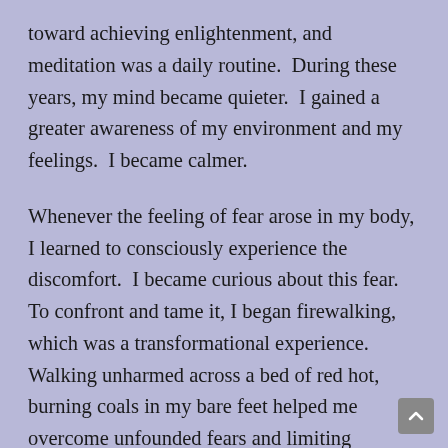toward achieving enlightenment, and meditation was a daily routine.  During these years, my mind became quieter.  I gained a greater awareness of my environment and my feelings.  I became calmer.
Whenever the feeling of fear arose in my body, I learned to consciously experience the discomfort.  I became curious about this fear.  To confront and tame it, I began firewalking, which was a transformational experience. Walking unharmed across a bed of red hot, burning coals in my bare feet helped me overcome unfounded fears and limiting beliefs.  I became a firewalking instructor so that I could share this powerful experience with others.  Continuing my journey